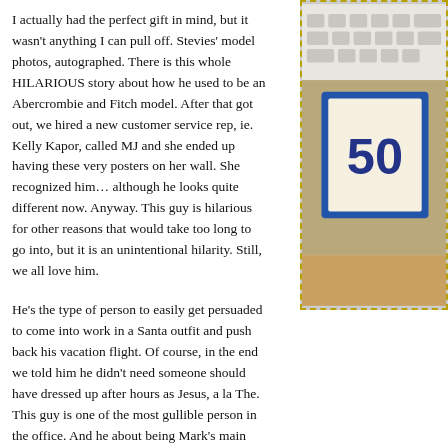I actually had the perfect gift in mind, but it wasn't anything I can pull off. Stevies' model photos, autographed. There is this whole HILARIOUS story about how he used to be an Abercrombie and Fitch model. After that got out, we hired a new customer service rep, ie. Kelly Kapor, called MJ and she ended up having these very posters on her wall. She recognized him… although he looks quite different now. Anyway. This guy is hilarious for other reasons that would take too long to go into, but it is an unintentional hilarity. Still, we all love him.
[Figure (photo): Partial photo of what appears to be a board game or box with blue border and the number '50' visible, placed on a surface near a keyboard.]
He's the type of person to easily get persuaded to come into work in a Santa outfit and push back his vacation flight. Of course, in the end we told him he didn't need someone should have dressed up after hours as Jesus, a la The. This guy is one of the most gullible person in the office. And he about being Mark's main tease.
I was trying to convince my boss to participate and wrap a hug...